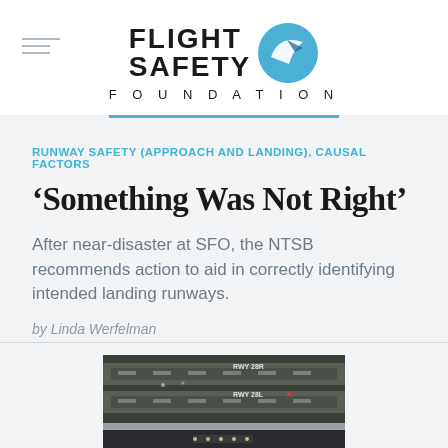FLIGHT SAFETY FOUNDATION
RUNWAY SAFETY (APPROACH AND LANDING), CAUSAL FACTORS
'Something Was Not Right'
After near-disaster at SFO, the NTSB recommends action to aid in correctly identifying intended landing runways.
by Linda Werfelman
[Figure (photo): Aerial/radar screen view of SFO runways showing RWY 28R and RWY 28L labels with an X marker]